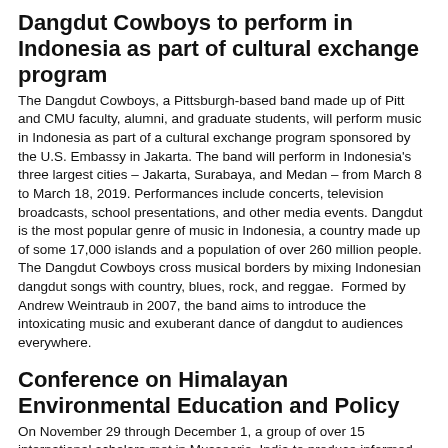Dangdut Cowboys to perform in Indonesia as part of cultural exchange program
The Dangdut Cowboys, a Pittsburgh-based band made up of Pitt and CMU faculty, alumni, and graduate students, will perform music in Indonesia as part of a cultural exchange program sponsored by the U.S. Embassy in Jakarta. The band will perform in Indonesia's three largest cities – Jakarta, Surabaya, and Medan – from March 8 to March 18, 2019. Performances include concerts, television broadcasts, school presentations, and other media events. Dangdut is the most popular genre of music in Indonesia, a country made up of some 17,000 islands and a population of over 260 million people.  The Dangdut Cowboys cross musical borders by mixing Indonesian dangdut songs with country, blues, rock, and reggae.  Formed by Andrew Weintraub in 2007, the band aims to introduce the intoxicating music and exuberant dance of dangdut to audiences everywhere.
Conference on Himalayan Environmental Education and Policy
On November 29 through December 1, a group of over 15 international scholars met in Mussoorie, India to produce informed insight on experiential educational programs that take advantage of the rich cultural resources and environment of the Himalayan region.